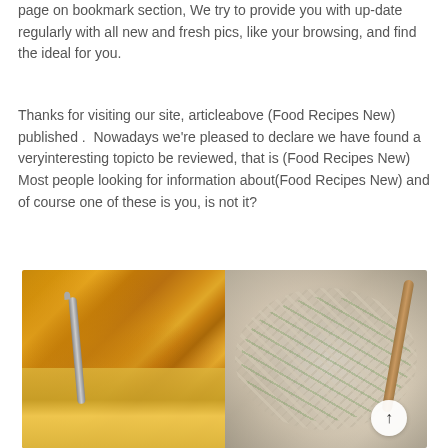page on bookmark section, We try to provide you with up-date regularly with all new and fresh pics, like your browsing, and find the ideal for you.
Thanks for visiting our site, articleabove (Food Recipes New) published .  Nowadays we're pleased to declare we have found a veryinteresting topicto be reviewed, that is (Food Recipes New) Most people looking for information about(Food Recipes New) and of course one of these is you, is not it?
[Figure (photo): Two food photos side by side: left shows a baked mac and cheese dish with breadcrumb topping being served with tongs, right shows a creamy pasta dish with shredded chicken and green herbs in a white bowl with a wooden spoon.]